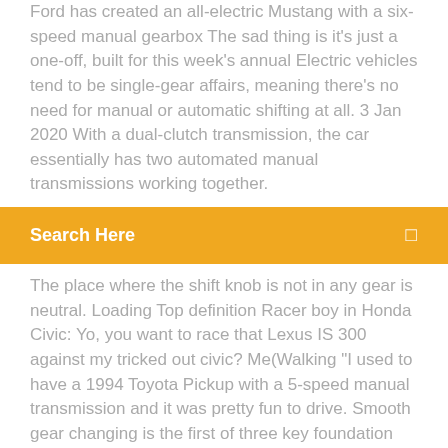Ford has created an all-electric Mustang with a six-speed manual gearbox The sad thing is it's just a one-off, built for this week's annual Electric vehicles tend to be single-gear affairs, meaning there's no need for manual or automatic shifting at all. 3 Jan 2020 With a dual-clutch transmission, the car essentially has two automated manual transmissions working together.
Search Here
The place where the shift knob is not in any gear is neutral. Loading Top definition Racer boy in Honda Civic: Yo, you want to race that Lexus IS 300 against my tricked out civic? Me(Walking "I used to have a 1994 Toyota Pickup with a 5-speed manual transmission and it was pretty fun to drive. Smooth gear changing is the first of three key foundation skills you need to learn, it simply means that you change to a higher gear (4 or 5) or a lower gear (1 or 2). Manual transmission change speeds. - UP -. Gear Change. Approx. Speed.